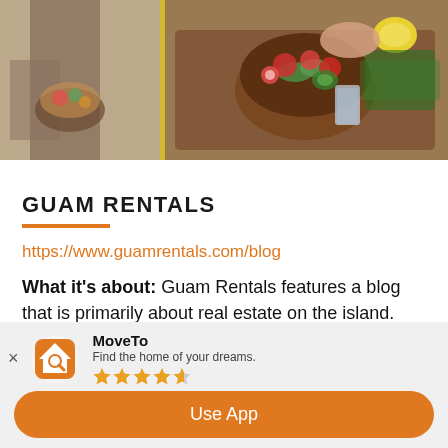[Figure (photo): Two food photos side by side: left shows a person preparing a dish, right shows a wooden bowl with sliced cucumbers and radishes on a cutting board with herbs and a lemon]
GUAM RENTALS
https://www.guamrentals.com/blog
What it's about: Guam Rentals features a blog that is primarily about real estate on the island. Readers of this blog can expect to see up-to-date articles on the
MoveTo
Find the home of your dreams.
★★★★☆
Use App